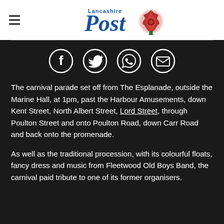Lancashire Post
[Figure (logo): Lancashire Post logo with red rose emblem and 'Lancashire Post' text in blue]
[Figure (infographic): Social sharing icons: Facebook, Twitter, WhatsApp, Email — white icons in dark circles on black background]
The carnival parade set off from The Esplanade, outside the Marine Hall, at 1pm, past the Harbour Amusements, down Kent Street, North Albert Street, Lord Street, through Poulton Street and onto Poulton Road, down Carr Road and back onto the promenade.
As well as the traditional procession, with its colourful floats, fancy dress and music from Fleetwood Old Boys Band, the carnival paid tribute to one of its former organisers.